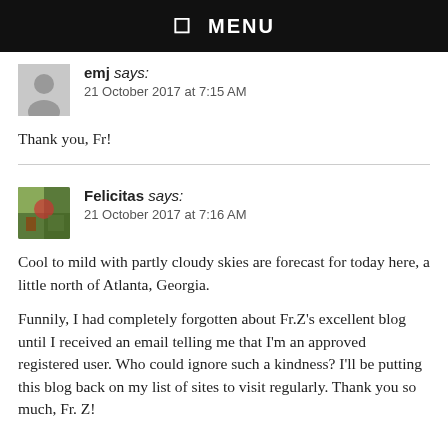☰ MENU
emj says:
21 October 2017 at 7:15 AM
Thank you, Fr!
Felicitas says:
21 October 2017 at 7:16 AM
Cool to mild with partly cloudy skies are forecast for today here, a little north of Atlanta, Georgia.
Funnily, I had completely forgotten about Fr.Z's excellent blog until I received an email telling me that I'm an approved registered user. Who could ignore such a kindness? I'll be putting this blog back on my list of sites to visit regularly. Thank you so much, Fr. Z!